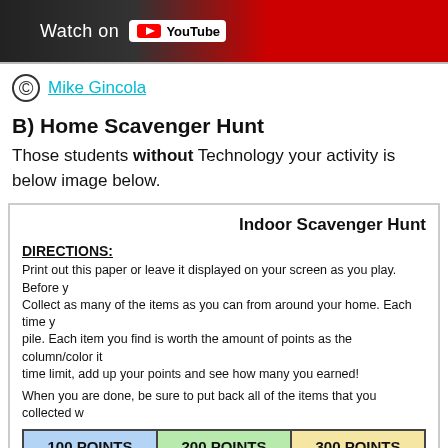[Figure (screenshot): YouTube 'Watch on YouTube' banner at top with dark background and red YouTube logo area]
© Mike Gincola
B) Home Scavenger Hunt
Those students without Technology your activity is below image below.
[Figure (other): Indoor Scavenger Hunt activity sheet with directions, points table (100 POINTS EACH, 200 POINTS EACH, 300 POINTS EACH) and illustrated items (hat, apple/banana). A Subscribe badge overlaps the bottom right.]